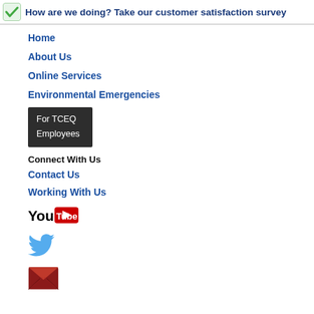How are we doing? Take our customer satisfaction survey
Home
About Us
Online Services
Environmental Emergencies
[Figure (other): Dark button reading 'For TCEQ Employees']
Connect With Us
Contact Us
Working With Us
[Figure (logo): YouTube logo]
[Figure (logo): Twitter bird logo]
[Figure (logo): Email/envelope icon]